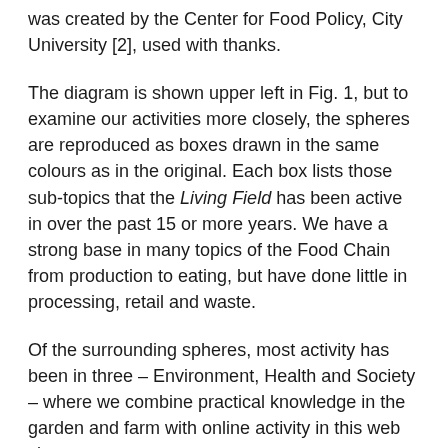was created by the Center for Food Policy, City University [2], used with thanks.
The diagram is shown upper left in Fig. 1, but to examine our activities more closely, the spheres are reproduced as boxes drawn in the same colours as in the original. Each box lists those sub-topics that the Living Field has been active in over the past 15 or more years. We have a strong base in many topics of the Food Chain from production to eating, but have done little in processing, retail and waste.
Of the surrounding spheres, most activity has been in three – Environment, Health and Society – where we combine practical knowledge in the garden and farm with online activity in this web site.
Looking at the possibilities, it would be difficult for us, with a base in the Garden, to move far into economics and politics. Rather, the scope for expansion lies through improving the